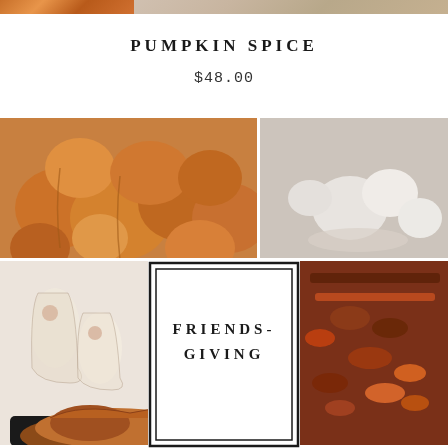[Figure (photo): Partial top strip of two photos: pumpkin food on left, neutral-toned table setting on right]
PUMPKIN SPICE
$48.00
[Figure (photo): Collage of four food/lifestyle photos arranged in a grid with a central FRIENDSGIVING overlay box. Top-left: pile of colorful pumpkins and gourds. Top-right: white pumpkins on a table setting. Middle-left: champagne/cocktail drinks with figs. Middle-right: roasted vegetables on a pan. Bottom-left: roasted turkey in a roasting pan. Bottom-right: more roasted vegetables. Center overlay: white box with double border containing text FRIENDS-GIVING]